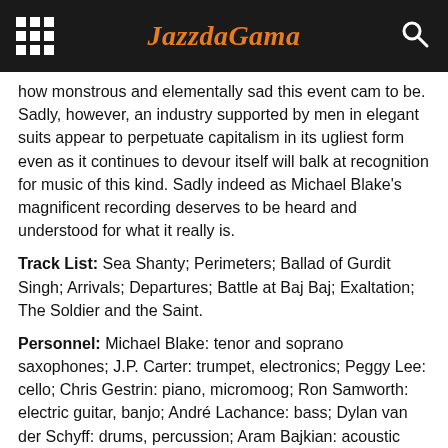JazzdaGama
how monstrous and elementally sad this event cam to be. Sadly, however, an industry supported by men in elegant suits appear to perpetuate capitalism in its ugliest form even as it continues to devour itself will balk at recognition for music of this kind. Sadly indeed as Michael Blake's magnificent recording deserves to be heard and understood for what it really is.
Track List: Sea Shanty; Perimeters; Ballad of Gurdit Singh; Arrivals; Departures; Battle at Baj Baj; Exaltation; The Soldier and the Saint.
Personnel: Michael Blake: tenor and soprano saxophones; J.P. Carter: trumpet, electronics; Peggy Lee: cello; Chris Gestrin: piano, micromoog; Ron Samworth: electric guitar, banjo; André Lachance: bass; Dylan van der Schyff: drums, percussion; Aram Bajkian: acoustic and electric guitars (1, 6, 7); Emma Postl: voice (1, 3); Neelamjit Dhillon: tabla (7).